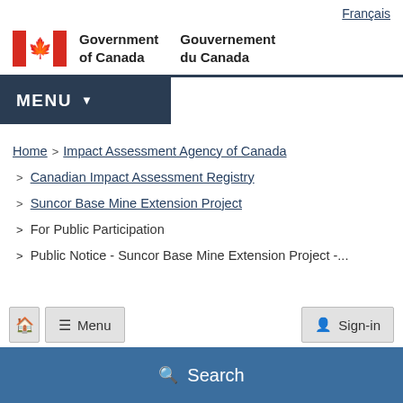Français
[Figure (logo): Government of Canada / Gouvernement du Canada logo with Canadian flag maple leaf icon]
MENU
Home > Impact Assessment Agency of Canada > Canadian Impact Assessment Registry > Suncor Base Mine Extension Project > For Public Participation > Public Notice - Suncor Base Mine Extension Project -...
Menu | Sign-in
Search